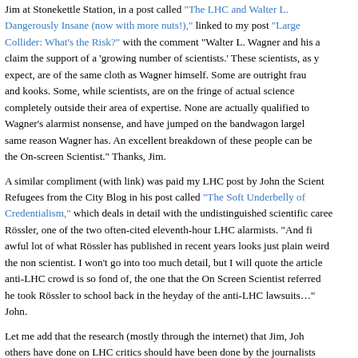Jim at Stonekettle Station, in a post called "The LHC and Walter L. Dangerously Insane (now with more nuts!)," linked to my post "Large Collider: What's the Risk?" with the comment "Walter L. Wagner and his a claim the support of a 'growing number of scientists.' These scientists, as y expect, are of the same cloth as Wagner himself. Some are outright frau and kooks. Some, while scientists, are on the fringe of actual science completely outside their area of expertise. None are actually qualified to Wagner's alarmist nonsense, and have jumped on the bandwagon largel same reason Wagner has. An excellent breakdown of these people can be the On-screen Scientist." Thanks, Jim.
A similar compliment (with link) was paid my LHC post by John the Scient Refugees from the City Blog in his post called "The Soft Underbelly of Credentialism," which deals in detail with the undistinguished scientific caree Rössler, one of the two often-cited eleventh-hour LHC alarmists. "And fi awful lot of what Rössler has published in recent years looks just plain weird the non scientist. I won't go into too much detail, but I will quote the article anti-LHC crowd is so fond of, the one that the On Screen Scientist referred he took Rössler to school back in the heyday of the anti-LHC lawsuits..." John.
Let me add that the research (mostly through the internet) that Jim, Joh others have done on LHC critics should have been done by the journalists took these anti-LHC characters at their word as being serious and worthy o Without necessarily endorsing every psychological evaluation made in the cited blogs, I can recommend them as good references on the fact sometimes bizarre past activities and the grossly inflated credentials of LHC critics. I hope someone at CERN has become aware of this resear